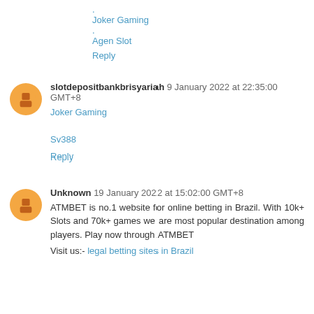. Joker Gaming . Agen Slot
Reply
slotdepositbankbrisyariah 9 January 2022 at 22:35:00 GMT+8
Joker Gaming

Sv388
Reply
Unknown 19 January 2022 at 15:02:00 GMT+8
ATMBET is no.1 website for online betting in Brazil. With 10k+ Slots and 70k+ games we are most popular destination among players. Play now through ATMBET
Visit us:- legal betting sites in Brazil